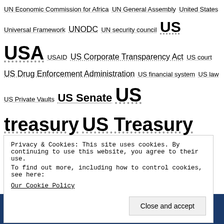UN Economic Commission for Africa UN General Assembly United States Universal Framework UNODC UN security council US USA USAID US Corporate Transparency Act US court US Drug Enforcement Administration US financial system US law US Private Vaults US Senate US treasury US Treasury Department VAT Venezuela vessel-tracking Washington waste metal waste trafficking watchdog WBG WCO wealth management weapons of mass destruction webinar WEF whistleblower whitepaper wild animals wildlife wildlife trafficking WMD Wolfsberg Group World Bank World Bank Group World Economic Forum WWF Zambia Zimbabwe ZRA УК
Privacy & Cookies: This site uses cookies. By continuing to use this website, you agree to their use.
To find out more, including how to control cookies, see here:
Our Cookie Policy
Close and accept
Search